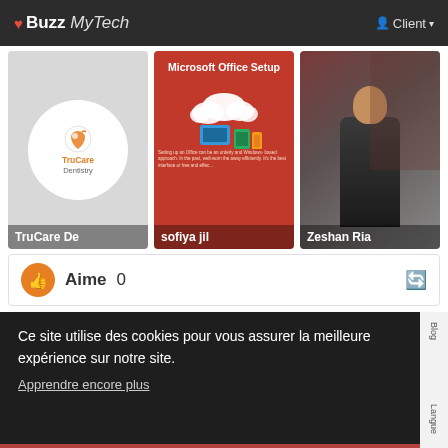❤ Buzz MyTech   Client ▾
[Figure (logo): TruCare Dentistry logo on grey background, white circle with orange tooth/leaf icon]
[Figure (screenshot): Microsoft Office Setup promotional image on red background with cloud and device icons]
[Figure (photo): Photo of man named Zeshan Ria outdoors]
Aime 0
Ce site utilise des cookies pour vous assurer la meilleure expérience sur notre site.
Apprendre encore plus
Blog
Langue
Je l'ai!